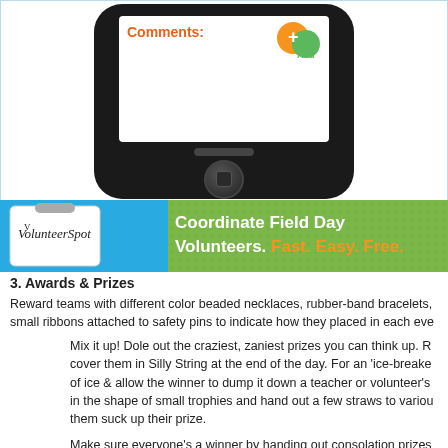[Figure (screenshot): Bottom portion of a smartphone showing a mobile app screen with 'Comments:' label in orange and an Add button with chat bubble icons, plus the phone home button]
[Figure (infographic): VolunteerSpot banner advertisement: green textured background with VolunteerSpot logo on left and text 'Coordinate Field Day Volunteers. Fast. Easy. Free.' in white and orange]
3.  Awards & Prizes
Reward teams with different color beaded necklaces, rubber-band bracelets, small ribbons attached to safety pins to indicate how they placed in each eve
Mix it up!  Dole out the craziest, zaniest prizes you can think up. R cover them in Silly String at the end of the day. For an 'ice-breake of ice & allow the winner to dump it down a teacher or volunteer's in the shape of small trophies and hand out a few straws to variou them suck up their prize.
Make sure everyone's a winner by handing out consolation prizes tattoos, stickers, pencils and other small prizes.  And above all, ha